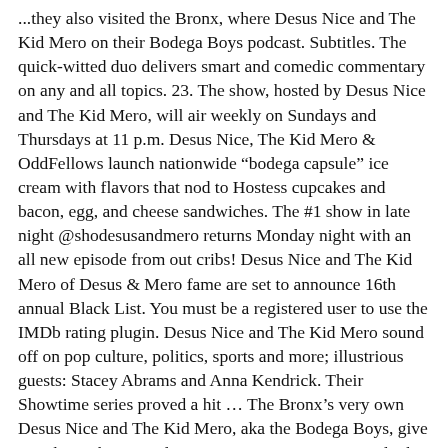...they also visited the Bronx, where Desus Nice and The Kid Mero on their Bodega Boys podcast. Subtitles. The quick-witted duo delivers smart and comedic commentary on any and all topics. 23. The show, hosted by Desus Nice and The Kid Mero, will air weekly on Sundays and Thursdays at 11 p.m. Desus Nice, The Kid Mero & OddFellows launch nationwide “bodega capsule” ice cream with flavors that nod to Hostess cupcakes and bacon, egg, and cheese sandwiches. The #1 show in late night @shodesusandmero returns Monday night with an all new episode from out cribs! Desus Nice and The Kid Mero of Desus & Mero fame are set to announce 16th annual Black List. You must be a registered user to use the IMDb rating plugin. Desus Nice and The Kid Mero sound off on pop culture, politics, sports and more; illustrious guests: Stacey Abrams and Anna Kendrick. Their Showtime series proved a hit … The Bronx's very own Desus Nice and The Kid Mero, aka the Bodega Boys, give you their takes on politics, sports, entertainment, and other subjects they don't really know about. Watch with SHOWTIME. Showtime has officially renewed their late-night talk show “Desus & Mero” for a third season. Desus & Mero is an American television late-night talk show hosted by comedians Desus Nice and The Kid Mero. DESUS & MERO: TERRIFYING AND SEXY AT THE SAME TIME. Text TBL999 to 89887 to opt in to receive text message alerts on our latest product news, events, and updates. They aren't even remotely funny. Prior to the interview, Desus and Mero, two lifelong New York Knicks fans, played a pickup game with Senator...